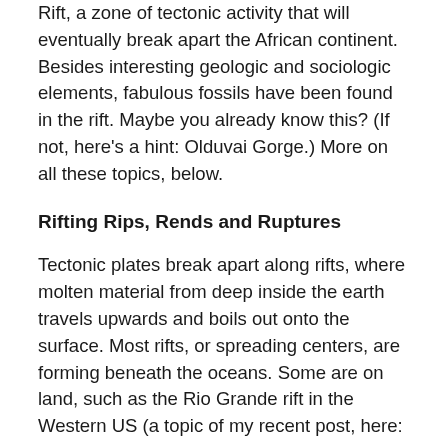Rift, a zone of tectonic activity that will eventually break apart the African continent. Besides interesting geologic and sociologic elements, fabulous fossils have been found in the rift. Maybe you already know this? (If not, here's a hint: Olduvai Gorge.) More on all these topics, below.
Rifting Rips, Rends and Ruptures
Tectonic plates break apart along rifts, where molten material from deep inside the earth travels upwards and boils out onto the surface. Most rifts, or spreading centers, are forming beneath the oceans. Some are on land, such as the Rio Grande rift in the Western US (a topic of my recent post, here: